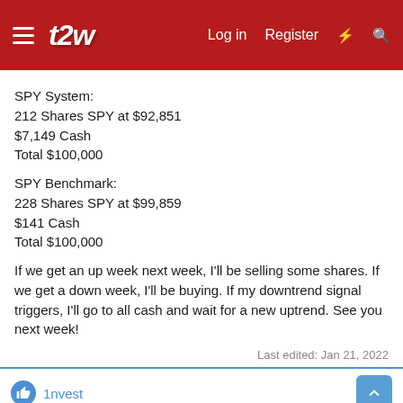t2w — Log in  Register
SPY System:
212 Shares SPY at $92,851
$7,149 Cash
Total $100,000
SPY Benchmark:
228 Shares SPY at $99,859
$141 Cash
Total $100,000
If we get an up week next week, I'll be selling some shares. If we get a down week, I'll be buying. If my downtrend signal triggers, I'll go to all cash and wait for a new uptrend. See you next week!
Last edited: Jan 21, 2022
1nvest
bikeeagle1